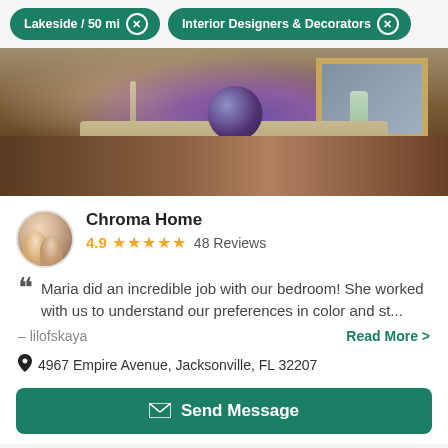Lakeside / 50 mi  ×
Interior Designers & Decorators  ×
[Figure (photo): Interior design photo: a dark wood console table with a gold/beige decorative tray, a purple/blue striped sphere, a tall candle holder, a glass vase with greenery, and a framed art piece on the wall behind.]
Chroma Home
4.9 ★★★★★ 48 Reviews
Maria did an incredible job with our bedroom! She worked with us to understand our preferences in color and st...
– lilofskaya
Read More >
4967 Empire Avenue, Jacksonville, FL 32207
Send Message